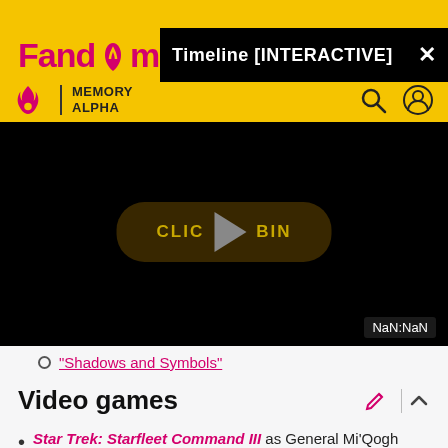[Figure (screenshot): Fandom Memory Alpha website header with yellow background, Fandom logo in pink/red, Memory Alpha branding, black overlay banner showing 'Timeline [INTERACTIVE]' with close button, and a black video player area with 'CLICK TO BEGIN' button and play triangle icon and NaN:NaN time display]
"Shadows and Symbols"
Video games
Star Trek: Starfleet Command III as General Mi'Qogh (voice)